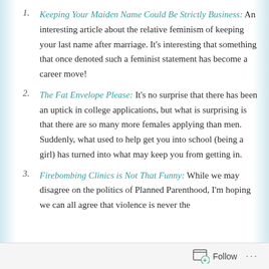Keeping Your Maiden Name Could Be Strictly Business: An interesting article about the relative feminism of keeping your last name after marriage. It's interesting that something that once denoted such a feminist statement has become a career move!
The Fat Envelope Please: It's no surprise that there has been an uptick in college applications, but what is surprising is that there are so many more females applying than men. Suddenly, what used to help get you into school (being a girl) has turned into what may keep you from getting in.
Firebombing Clinics is Not That Funny: While we may disagree on the politics of Planned Parenthood, I'm hoping we can all agree that violence is never the
Follow